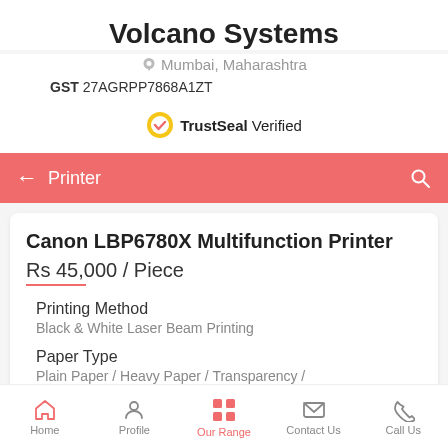Volcano Systems
Mumbai, Maharashtra
GST 27AGRPP7868A1ZT
TrustSeal Verified
Printer
Canon LBP6780X Multifunction Printer
Rs 45,000 / Piece
Printing Method
Black & White Laser Beam Printing
Paper Type
Plain Paper / Heavy Paper / Transparency /
Home | Profile | Our Range | Contact Us | Call Us